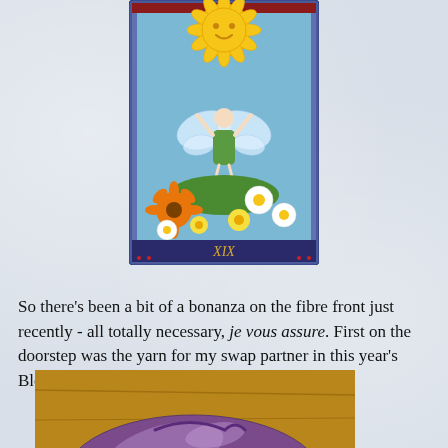[Figure (illustration): A tarot card (XIX - The Sun) depicting a fairy with wings dancing among flowers including daisies and sunflowers, with a smiling sun above, bordered in blue and red.]
So there's been a bit of a bonanza on the fibre front just recently - all totally necessary, je vous assure. First on the doorstep was the yarn for my swap partner in this year's Blog Hub Swap :
[Figure (photo): A purple/violet shiny plastic bag containing yarn, sitting on a wooden surface.]